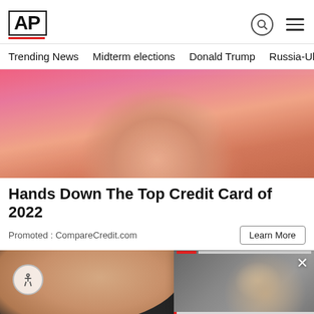AP
Trending News   Midterm elections   Donald Trump   Russia-Ukr
[Figure (photo): Woman holding a credit card against a pink background, wearing an orange top, smiling.]
Hands Down The Top Credit Card of 2022
Promoted : CompareCredit.com
Learn More
[Figure (photo): Close-up of a finger on a Nokia phone with an envelope/message icon visible.]
[Figure (photo): Man with glasses in news popup overlay showing article about Russia probe memo wrongly withheld under Barr.]
Russia probe memo wrongly withheld under Barr, court ...